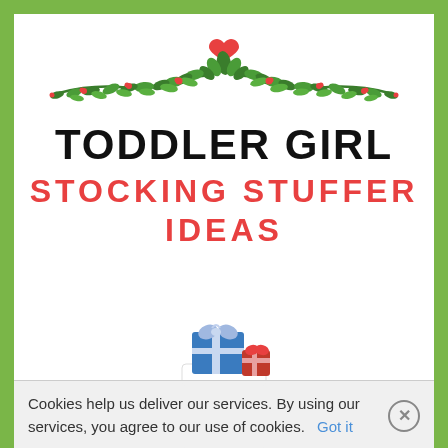[Figure (illustration): Decorative floral/holly garland with green leaves, red berries, and a red heart at the top center, symmetrical arrangement]
TODDLER GIRL STOCKING STUFFER IDEAS
[Figure (photo): A white Christmas stocking with a blue gift box and a red ribbon-wrapped gift peeking out from the top]
Cookies help us deliver our services. By using our services, you agree to our use of cookies.   Got it